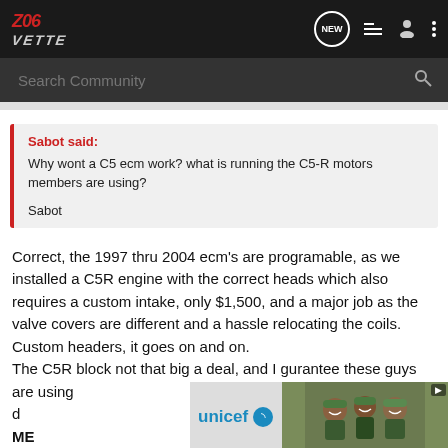Z06Vette - NEW - menu - user - more
Search Community
Sabot said:
Why wont a C5 ecm work? what is running the C5-R motors members are using?

Sabot
Correct, the 1997 thru 2004 ecm's are programable, as we installed a C5R engine with the correct heads which also requires a custom intake, only $1,500, and a major job as the valve covers are different and a hassle relocating the coils. Custom headers, it goes on and on.
The C5R block not that big a deal, and I gurantee these guys are using , doing the real d ELIEVE ME
[Figure (photo): UNICEF advertisement with photo of smiling children wearing green hats]